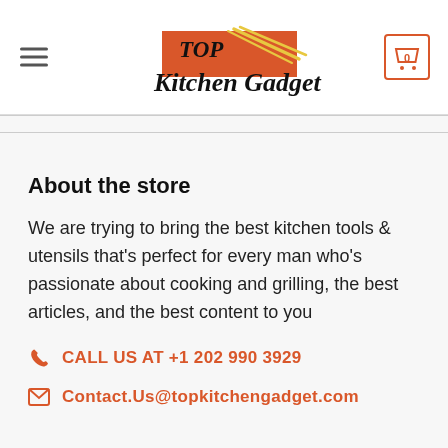[Figure (logo): Top Kitchen Gadget logo with orange background box, spatula/fork graphic, and stylized script text 'TOP Kitchen Gadget']
About the store
We are trying to bring the best kitchen tools & utensils that's perfect for every man who's passionate about cooking and grilling, the best articles, and the best content to you
CALL US AT +1 202 990 3929
Contact.Us@topkitchengadget.com